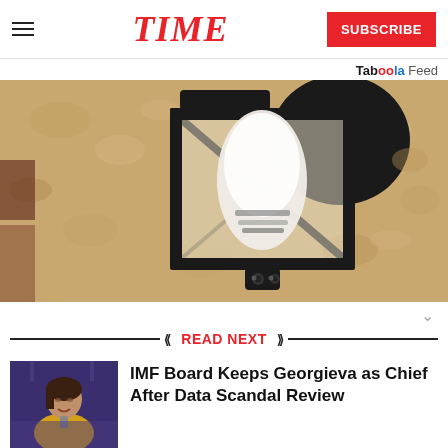TIME
Taboola Feed
[Figure (photo): Close-up photograph of a black metal wall lantern light fixture with a frosted bulb, mounted on a textured stucco wall. A small security camera is visible beneath the lantern.]
READ NEXT
[Figure (photo): Thumbnail photo of IMF chief Kristalina Georgieva speaking at a podium, wearing a yellow outfit.]
IMF Board Keeps Georgieva as Chief After Data Scandal Review